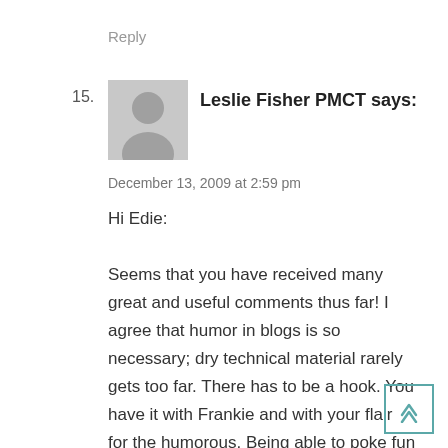Reply
15.
[Figure (illustration): Generic gray avatar silhouette of a person]
Leslie Fisher PMCT says:
December 13, 2009 at 2:59 pm
Hi Edie:

Seems that you have received many great and useful comments thus far! I agree that humor in blogs is so necessary; dry technical material rarely gets too far. There has to be a hook. You have it with Frankie and with your flair for the humorous. Being able to poke fun without being horribly offensive is another talent you have; keep using that. I would advise erring on the side of not being so opinionated as to become